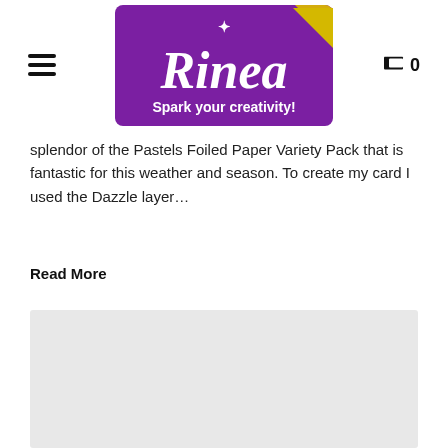[Figure (logo): Rinea logo — purple rounded rectangle with gold folded corner, white italic script text 'Rinea', white star/sparkle above, white bold tagline 'Spark your creativity!']
splendor of the Pastels Foiled Paper Variety Pack that is fantastic for this weather and season. To create my card I used the Dazzle layer…
Read More
[Figure (photo): Light grey placeholder image block at bottom of page]